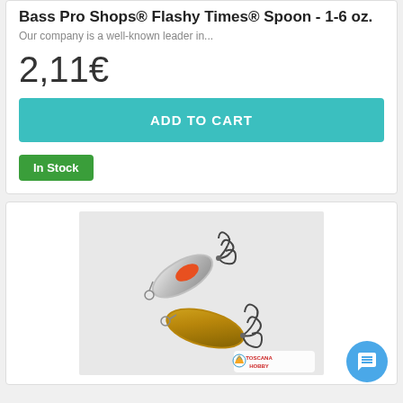Bass Pro Shops® Flashy Times® Spoon - 1-6 oz.
Our company is a well-known leader in...
2,11€
ADD TO CART
In Stock
[Figure (photo): Two fishing spoon lures with treble hooks, one silver with orange/red stripe, one gold/bronze, with Toscana Hobby logo visible at bottom right.]